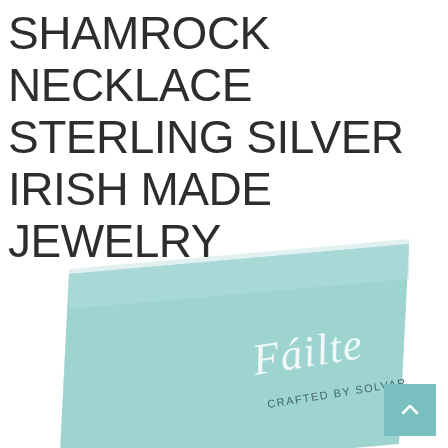SHAMROCK NECKLACE STERLING SILVER IRISH MADE JEWELRY
[Figure (photo): A mint/seafoam green rectangular jewelry box or card packaging tilted at an angle, showing the 'Fáilte Crafted by Solvar' branding in white italic text on the front.]